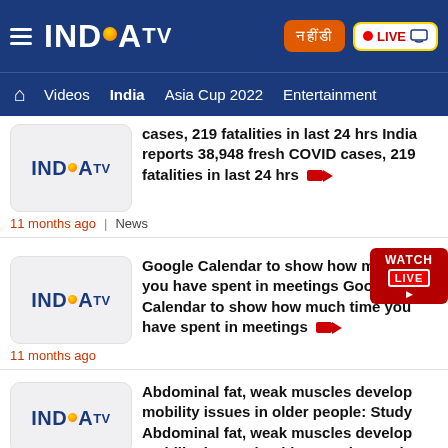INDIA TV — header with navigation
India reports 38,948 fresh COVID cases, 219 fatalities in last 24 hrs India reports 38,948 fresh COVID cases, 219 fatalities in last 24 hrs — 11 months ago | News
Google Calendar to show how much time you have spent in meetings Google Calendar to show how much time you have spent in meetings — 11 months ago
Abdominal fat, weak muscles develop mobility issues in older people: Study Abdominal fat, weak muscles develop mobility issues in older people: Study